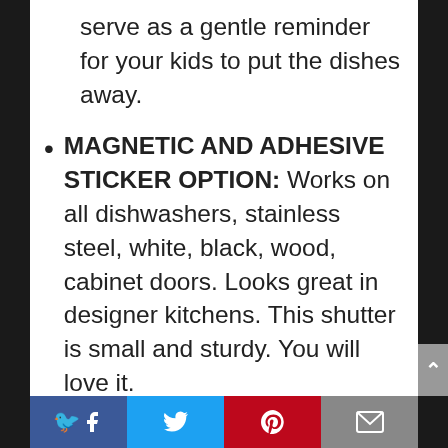serve as a gentle reminder for your kids to put the dishes away.
MAGNETIC AND ADHESIVE STICKER OPTION: Works on all dishwashers, stainless steel, white, black, wood, cabinet doors. Looks great in designer kitchens. This shutter is small and sturdy. You will love it.
PERFECT SIZE AND DURABLE: 7 inches by 2 inches making it easy to read but not overwhelming. It’s made of a smooth and bendable plastic that won’t leave any scratches on your dishwasher.
Facebook | Twitter | Pinterest | Email